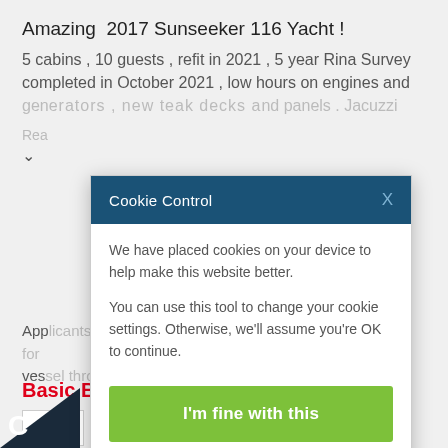Amazing  2017 Sunseeker 116 Yacht !
5 cabins , 10 guests , refit in 2021 , 5 year Rina Survey completed in October 2021 , low hours on engines and generators , new teak decks and panels . Jacuzzi
Read more
App[licants agree to this being] the purchase of this vess[el through] Yachts.
Sp[ecial]
[Figure (screenshot): Cookie Control modal dialog overlay on a yacht listing webpage. Header is dark blue with text 'Cookie Control' and an X close button. Body contains two paragraphs of cookie consent text. A green 'I'm fine with this' button. Links to 'Information and Settings' and 'About our cookies'.]
Basic Boat Info
Status: Paid